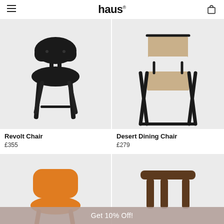haus®
[Figure (photo): Black Revolt Chair on light grey background]
Revolt Chair
£355
[Figure (photo): Beige/tan Desert Dining Chair (folding) with black metal frame on light grey background]
Desert Dining Chair
£279
[Figure (photo): Orange chair with wooden legs, partially visible, on light grey background]
[Figure (photo): Dark walnut/brown wooden chair top/back, partially visible, on light grey background]
Get 10% Off!